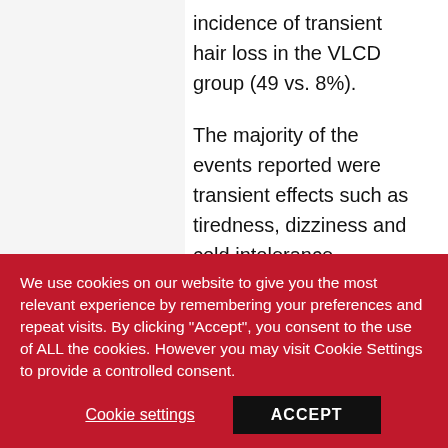incidence of transient hair loss in the VLCD group (49 vs. 8%).
The majority of the events reported were transient effects such as tiredness, dizziness and cold intolerance.
From their analysis the authors conclude that,
"…this review provides strong…
"However, the trials reviewed…
We use cookies on our website to give you the most relevant experience by remembering your preferences and repeat visits. By clicking "Accept", you consent to the use of ALL the cookies. However you may visit Cookie Settings to provide a controlled consent.